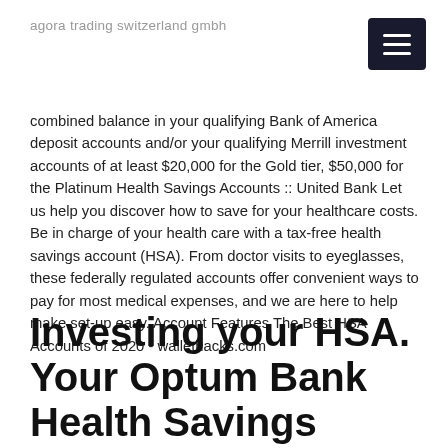agora trading switzerland gmbh
combined balance in your qualifying Bank of America deposit accounts and/or your qualifying Merrill investment accounts of at least $20,000 for the Gold tier, $50,000 for the Platinum Health Savings Accounts :: United Bank Let us help you discover how to save for your healthcare costs. Be in charge of your health care with a tax-free health savings account (HSA). From doctor visits to eyeglasses, these federally regulated accounts offer convenient ways to pay for most medical expenses, and we are here to help make set-up easy. Account Features The Best HSA Accounts of 2020 - wallethacks.com
Investing your HSA. Your Optum Bank Health Savings Account (HSA) is a